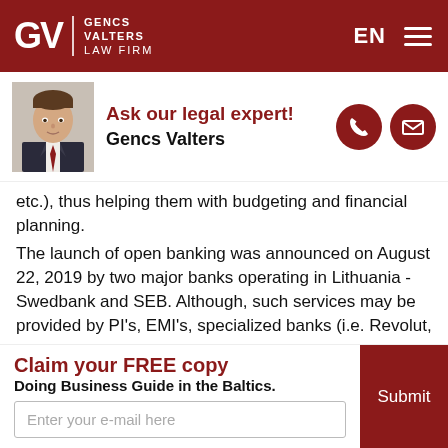[Figure (logo): GV Gencs Valters Law Firm logo in white on dark red header, with EN language selector and hamburger menu]
[Figure (photo): Headshot of Gencs Valters in a suit, with 'Ask our legal expert!' and name, plus phone and email contact icons]
etc.), thus helping them with budgeting and financial planning.
The launch of open banking was announced on August 22, 2019 by two major banks operating in Lithuania - Swedbank and SEB. Although, such services may be provided by PI's, EMI's, specialized banks (i.e. Revolut, which recently obtained such license in Lithuania), banks, etc. Upon consent of the customer, banks will have to
Claim your FREE copy
Doing Business Guide in the Baltics.
Enter your e-mail here
Submit